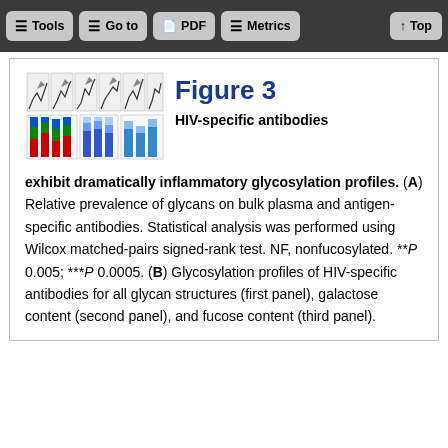Tools | Go to | PDF | Metrics | Top
Figure 3
[Figure (illustration): Thumbnail images of stacked bar charts showing glycan prevalence data across multiple panels with colored bars (red, green, blue)]
HIV-specific antibodies exhibit dramatically inflammatory glycosylation profiles. (A) Relative prevalence of glycans on bulk plasma and antigen-specific antibodies. Statistical analysis was performed using Wilcox matched-pairs signed-rank test. NF, nonfucosylated. **P 0.005; ***P 0.0005. (B) Glycosylation profiles of HIV-specific antibodies for all glycan structures (first panel), galactose content (second panel), and fucose content (third panel).